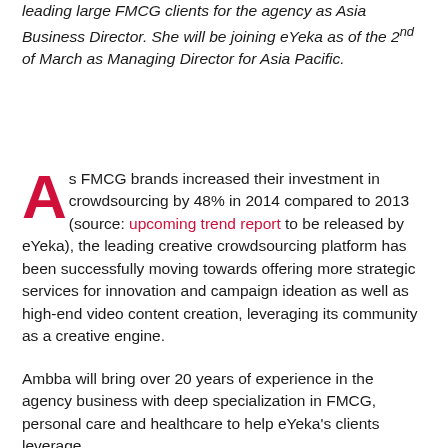leading large FMCG clients for the agency as Asia Business Director. She will be joining eYeka as of the 2nd of March as Managing Director for Asia Pacific.
As FMCG brands increased their investment in crowdsourcing by 48% in 2014 compared to 2013 (source: upcoming trend report to be released by eYeka), the leading creative crowdsourcing platform has been successfully moving towards offering more strategic services for innovation and campaign ideation as well as high-end video content creation, leveraging its community as a creative engine.
Ambba will bring over 20 years of experience in the agency business with deep specialization in FMCG, personal care and healthcare to help eYeka's clients leverage